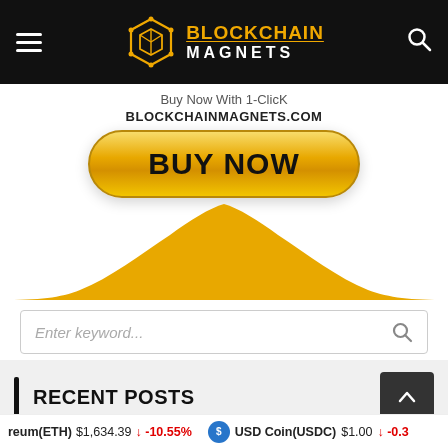Blockchain Magnets — navigation header with logo, hamburger menu, and search icon
Buy Now With 1-ClickK
BLOCKCHAINMAGNETS.COM
[Figure (illustration): Gold 'BUY NOW' button with rounded pill shape and gradient background]
[Figure (continuous-plot): Bell curve / hill shape filled in orange/gold color representing a distribution curve]
Enter keyword...
RECENT POSTS
reum(ETH) $1,634.39 ↓ -10.55%   USD Coin(USDC) $1.00 ↓ -0.3